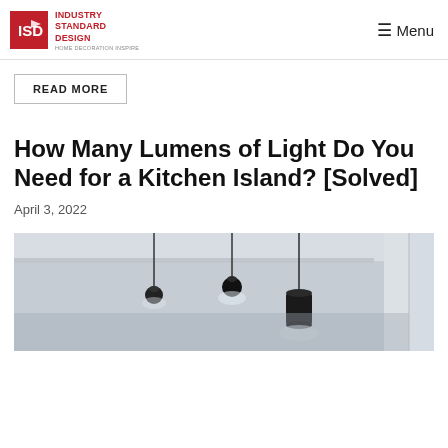INDUSTRY STANDARD DESIGN | Menu
READ MORE
How Many Lumens of Light Do You Need for a Kitchen Island? [Solved]
April 3, 2022
[Figure (photo): Photo of pendant lights hanging from a ceiling, black cylindrical pendants over what appears to be a kitchen area, black and white/monochrome tone]